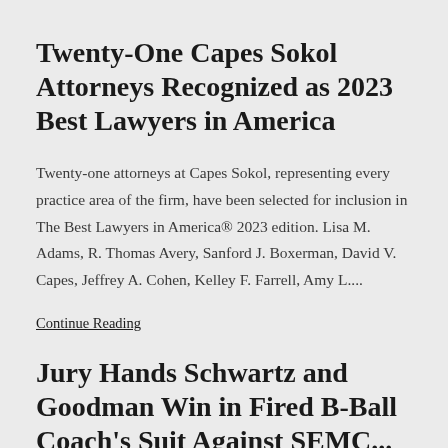Twenty-One Capes Sokol Attorneys Recognized as 2023 Best Lawyers in America
Twenty-one attorneys at Capes Sokol, representing every practice area of the firm, have been selected for inclusion in The Best Lawyers in America® 2023 edition. Lisa M. Adams, R. Thomas Avery, Sanford J. Boxerman, David V. Capes, Jeffrey A. Cohen, Kelley F. Farrell, Amy L....
Continue Reading
Jury Hands Schwartz and Goodman Win in Fired B-Ball Coach's Suit Against SEMC...